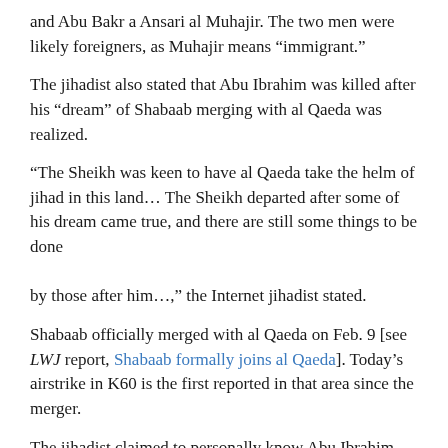and Abu Bakr a Ansari al Muhajir. The two men were likely foreigners, as Muhajir means “immigrant.”
The jihadist also stated that Abu Ibrahim was killed after his “dream” of Shabaab merging with al Qaeda was realized.
“The Sheikh was keen to have al Qaeda take the helm of jihad in this land… The Sheikh departed after some of his dream came true, and there are still some things to be done

by those after him…,” the Internet jihadist stated.
Shabaab officially merged with al Qaeda on Feb. 9 [see LWJ report, Shabaab formally joins al Qaeda]. Today’s airstrike in K60 is the first reported in that area since the merger.
The jihadist claimed to personally know Abu Ibrahim, presumably from the jihadist web forums, and said that he had, along with al Qaeda leader Bilal al Berjawi, encouraged and helped Abu Ibrahim enter Somalia. The jihadist said he first met Abu Ibrahim in the Somali city of Baidoa. The city was controlled by Shabaab for the past three years before the terror